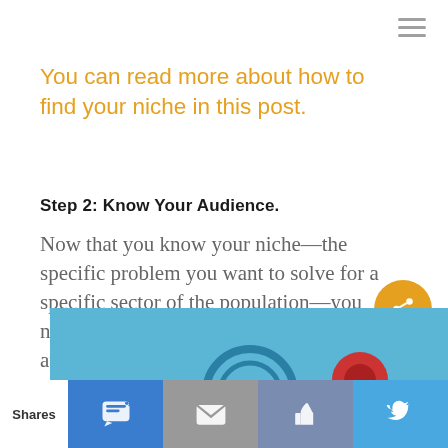You can read more about how to find your niche in this post.
Step 2: Know Your Audience.
Now that you know your niche—the specific problem you want to solve for a specific sector of the population—you need to do more research on your audience.
[Figure (illustration): Partial view of a blue illustrated banner with stylized audience/person icons at the bottom of the page]
Shares | SMS | Email | Like | Tweet social sharing bar